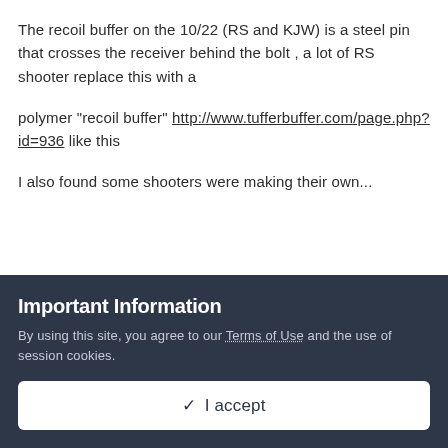The recoil buffer on the 10/22 (RS and KJW) is a steel pin that crosses the receiver behind the bolt , a lot of RS shooter replace this with a
polymer "recoil buffer" http://www.tufferbuffer.com/page.php?id=936 like this
I also found some shooters were making their own...
Important Information
By using this site, you agree to our Terms of Use and the use of session cookies.
✓ I accept